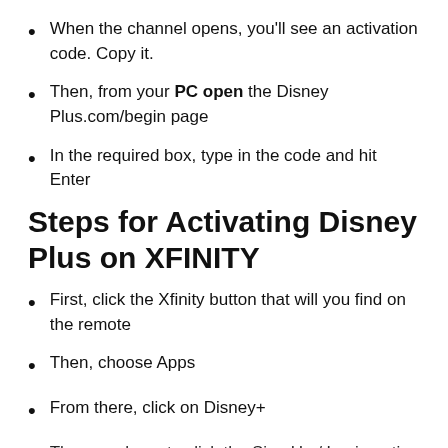When the channel opens, you'll see an activation code. Copy it.
Then, from your PC open the Disney Plus.com/begin page
In the required box, type in the code and hit Enter
Steps for Activating Disney Plus on XFINITY
First, click the Xfinity button that will you find on the remote
Then, choose Apps
From there, click on Disney+
Then you have to click the Sign Up / Login option